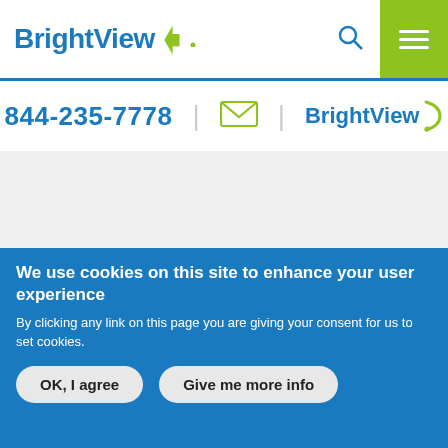[Figure (logo): BrightView logo with blue text and green bracket/leaf mark]
844-235-7778 | [email icon] | BrightView logo
Services
Design
We use cookies on this site to enhance your user experience
By clicking any link on this page you are giving your consent for us to set cookies.
OK, I agree | Give me more info